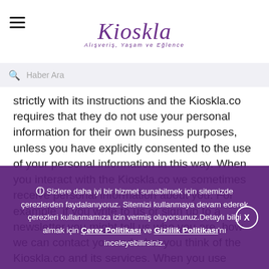Kioskla — Alışveriş, Yaşam ve Eğlence
Haber Ara
strictly with its instructions and the Kioskla.co requires that they do not use your personal information for their own business purposes, unless you have explicitly consented to the use of your personal information in this way. When you interact with the Kioskla.co we sometimes receive personal information about you. For example, if you write to us or sign up to a newsletter,you might tell us who you are, how we can contact you and what you think of the Kioskla.co and its services. When you use Kioskla.co online services, we use cookies... find out more about this in the Kioskla.co Cookies Section of our full PrivacyPolicy.
ⓘ Sizlere daha iyi bir hizmet sunabilmek için sitemizde çerezlerden faydalanıyoruz. Sitemizi kullanmaya devam ederek çerezleri kullanmamıza izin vermiş oluyorsunuz.Detaylı bilgi almak için Çerez Politikası ve Gizlilik Politikası'nı inceleyebilirsiniz.